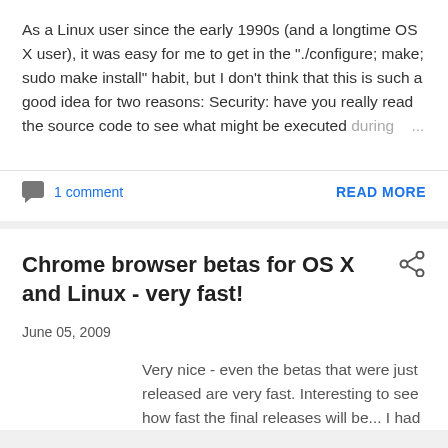As a Linux user since the early 1990s (and a longtime OS X user), it was easy for me to get in the "./configure; make; sudo make install" habit, but I don't think that this is such a good idea for two reasons: Security: have you really read the source code to see what might be executed during ...
1 comment
READ MORE
Chrome browser betas for OS X and Linux - very fast!
June 05, 2009
Very nice - even the betas that were just released are very fast. Interesting to see how fast the final releases will be... I had